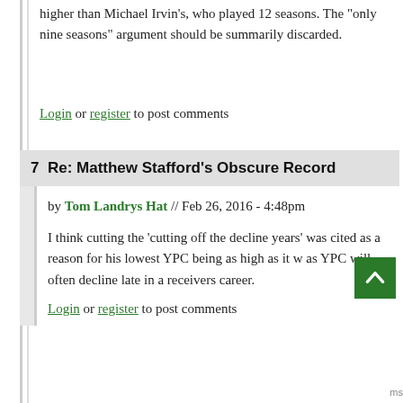higher than Michael Irvin's, who played 12 seasons. The "only nine seasons" argument should be summarily discarded.
Login or register to post comments
7  Re: Matthew Stafford's Obscure Record
by Tom Landrys Hat // Feb 26, 2016 - 4:48pm
I think cutting the 'cutting off the decline years' was cited as a reason for his lowest YPC being as high as it was, as YPC will often decline late in a receivers career.
Login or register to post comments